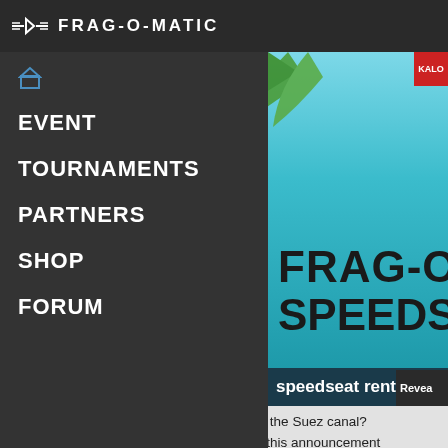FRAG-O-MATIC
EVENT
TOURNAMENTS
PARTNERS
SHOP
FORUM
[Figure (illustration): Frag-o-Matic Speedseats Rental promotional banner with tropical palm leaves and logo on teal/cyan gradient background. Text reads FRAG-O-MATIC SPEEDSEATS RENTAL in bold black.]
speedseat rental
Remember the Ever Given that got stuck in the Suez canal? The container stuck on the boat containing this announcement has finally arrived in Wieze! For some more comfort ...
[Figure (photo): Gaming event photo showing a person wearing headphones sitting at a computer, with a Frag-o-Matic logo visible in the background on a blue banner.]